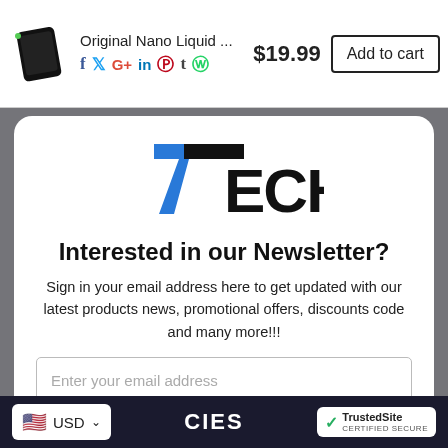Original Nano Liquid ... $19.99 Add to cart
[Figure (logo): 7TECH brand logo with blue stylized 7 and black ECH text]
Interested in our Newsletter?
Sign in your email address here to get updated with our latest products news, promotional offers, discounts code and many more!!!
USD  CIES  TrustedSite CERTIFIED SECURE